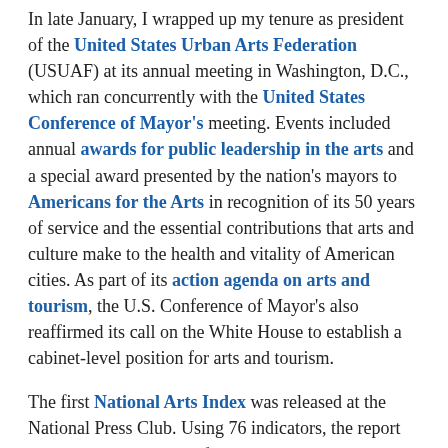In late January, I wrapped up my tenure as president of the United States Urban Arts Federation (USUAF) at its annual meeting in Washington, D.C., which ran concurrently with the United States Conference of Mayor's meeting. Events included annual awards for public leadership in the arts and a special award presented by the nation's mayors to Americans for the Arts in recognition of its 50 years of service and the essential contributions that arts and culture make to the health and vitality of American cities. As part of its action agenda on arts and tourism, the U.S. Conference of Mayor's also reaffirmed its call on the White House to establish a cabinet-level position for arts and tourism.
The first National Arts Index was released at the National Press Club. Using 76 indicators, the report collected a wide range of data over an 11-year period to track activity and chart trends in our field. The report covers both nonprofit and for-profit arts and cultural data. Not surprisingly, the arts follow the nation's business cycle. The index fell 4.2 percentage points in 2008, reflecting losses in charitable giving and declining attendance at larger cultural institutions — even as the